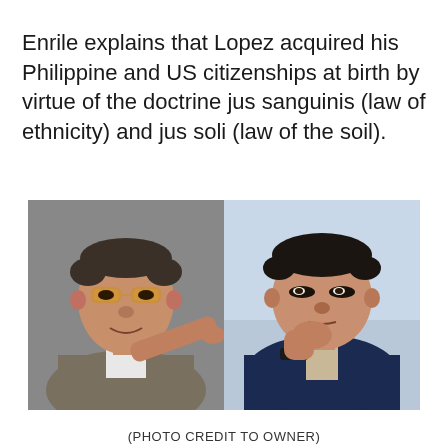Enrile explains that Lopez acquired his Philippine and US citizenships at birth by virtue of the doctrine jus sanguinis (law of ethnicity) and jus soli (law of the soil).
[Figure (photo): Two men side by side: on the left, an elderly Filipino man with amber-tinted glasses pointing a finger; on the right, a man in a dark suit with his hand raised to his chin in a thinking pose.]
(PHOTO CREDIT TO OWNER)